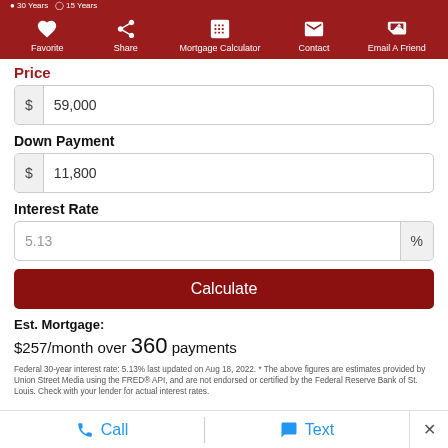30 Years  15 Years
Favorite  Share  Mortgage Calculator  Contact  Email A Friend
Price
$ 59,000
Down Payment
$ 11,800
Interest Rate
5.13 %
Calculate
Est. Mortgage: $257/month over 360 payments
Federal 30-year interest rate: 5.13% last updated on Aug 18, 2022. * The above figures are estimates provided by Union Street Media using the FRED® API, and are not endorsed or certified by the Federal Reserve Bank of St. Louis. Check with your lender for actual interest rates.
Call  Text  ×